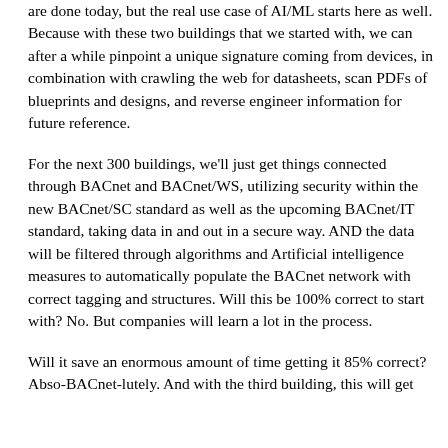are done today, but the real use case of AI/ML starts here as well. Because with these two buildings that we started with, we can after a while pinpoint a unique signature coming from devices, in combination with crawling the web for datasheets, scan PDFs of blueprints and designs, and reverse engineer information for future reference.
For the next 300 buildings, we'll just get things connected through BACnet and BACnet/WS, utilizing security within the new BACnet/SC standard as well as the upcoming BACnet/IT standard, taking data in and out in a secure way. AND the data will be filtered through algorithms and Artificial intelligence measures to automatically populate the BACnet network with correct tagging and structures. Will this be 100% correct to start with? No. But companies will learn a lot in the process.
Will it save an enormous amount of time getting it 85% correct? Abso-BACnet-lutely. And with the third building, this will get